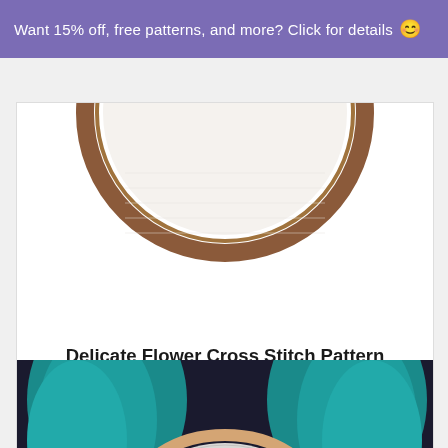Want 15% off, free patterns, and more? Click for details 😊
[Figure (photo): Top portion of a circular embroidery hoop with brown wooden frame, showing white fabric, partially cropped at top of card]
Delicate Flower Cross Stitch Pattern
$8.99
[Figure (photo): Person with teal/turquoise hair wearing a dark outfit, holding or displaying a circular embroidery hoop with a cross stitch pattern in progress, showing space/galaxy design]